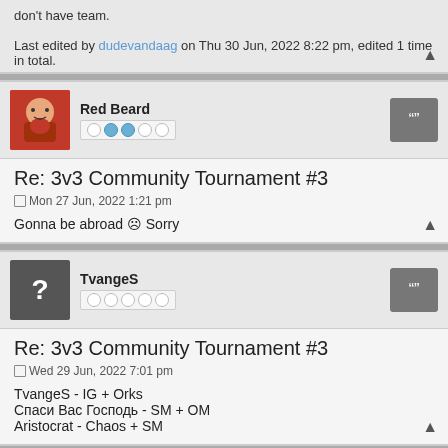don't have team.
Last edited by dudevandaag on Thu 30 Jun, 2022 8:22 pm, edited 1 time in total.
Red Beard
Re: 3v3 Community Tournament #3
Mon 27 Jun, 2022 1:21 pm
Gonna be abroad ☹ Sorry
TvangeS
Re: 3v3 Community Tournament #3
Wed 29 Jun, 2022 7:01 pm
TvangeS - IG + Orks
Спаси Вас Господь - SM + OM
Aristocrat - Chaos + SM
TheTenso